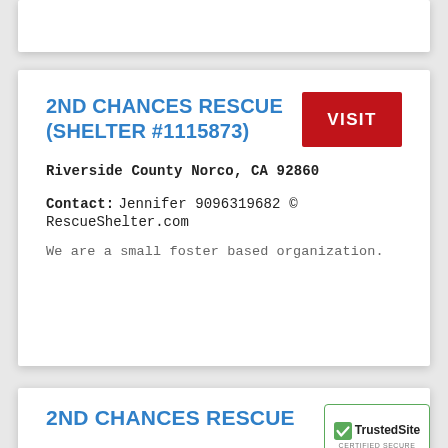2ND CHANCES RESCUE (SHELTER #1115873)
Riverside County Norco, CA 92860
Contact: Jennifer 9096319682 © RescueShelter.com
We are a small foster based organization.
2ND CHANCES RESCUE